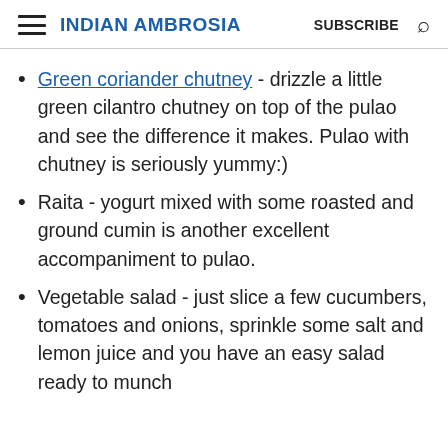INDIAN AMBROSIA  SUBSCRIBE
Green coriander chutney - drizzle a little green cilantro chutney on top of the pulao and see the difference it makes. Pulao with chutney is seriously yummy:)
Raita - yogurt mixed with some roasted and ground cumin is another excellent accompaniment to pulao.
Vegetable salad - just slice a few cucumbers, tomatoes and onions, sprinkle some salt and lemon juice and you have an easy salad ready to munch